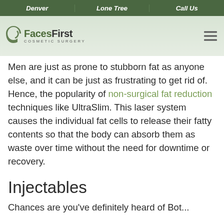Denver | Lone Tree | Call Us
[Figure (logo): FacesFirst Cosmetic Surgery logo with circular icon and hamburger menu]
Men are just as prone to stubborn fat as anyone else, and it can be just as frustrating to get rid of. Hence, the popularity of non-surgical fat reduction techniques like UltraSlim. This laser system causes the individual fat cells to release their fatty contents so that the body can absorb them as waste over time without the need for downtime or recovery.
Injectables
Chances are you've definitely heard of Bot...